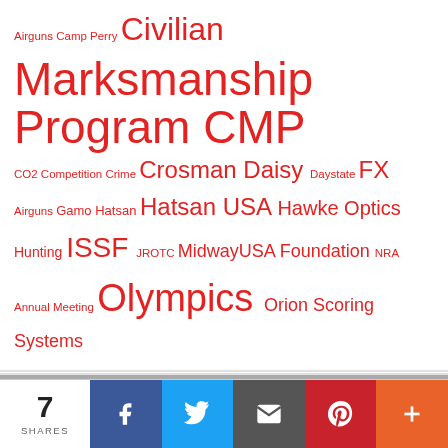Airguns Camp Perry Civilian Marksmanship Program CMP CO2 Competition Crime Crosman Daisy Daystate FX Airguns Gamo Hatsan Hatsan USA Hawke Optics Hunting ISSF JROTC MidwayUSA Foundation NRA Annual Meeting Olympics Orion Scoring Systems Paralympics PCP Pellets Pyramyd Air Scholarships Scopes SHOT Show Sig Air Sig Sauer Targets The High Road Umarex USA Shooting Velocity Outdoor World Cup
[Figure (photo): Partial photo visible at bottom of tag cloud section]
7 SHARES
[Figure (other): Social share bar with Facebook, Twitter, Email, Pinterest, and More buttons]